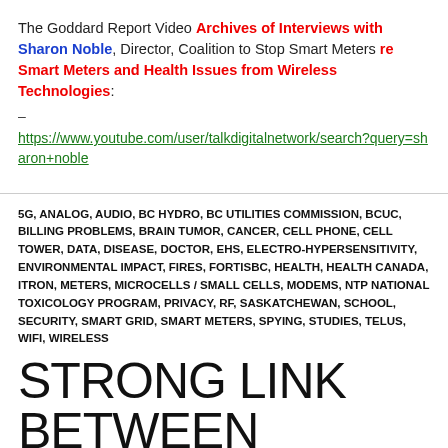The Goddard Report Video Archives of Interviews with Sharon Noble, Director, Coalition to Stop Smart Meters re Smart Meters and Health Issues from Wireless Technologies:
–
https://www.youtube.com/user/talkdigitalnetwork/search?query=sharon+noble
5G, ANALOG, AUDIO, BC HYDRO, BC UTILITIES COMMISSION, BCUC, BILLING PROBLEMS, BRAIN TUMOR, CANCER, CELL PHONE, CELL TOWER, DATA, DISEASE, DOCTOR, EHS, ELECTRO-HYPERSENSITIVITY, ENVIRONMENTAL IMPACT, FIRES, FORTISBC, HEALTH, HEALTH CANADA, ITRON, METERS, MICROCELLS / SMALL CELLS, MODEMS, NTP NATIONAL TOXICOLOGY PROGRAM, PRIVACY, RF, SASKATCHEWAN, SCHOOL, SECURITY, SMART GRID, SMART METERS, SPYING, STUDIES, TELUS, WIFI, WIRELESS
STRONG LINK BETWEEN